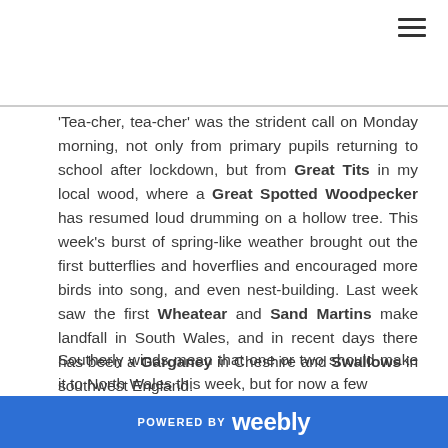'Tea-cher, tea-cher' was the strident call on Monday morning, not only from primary pupils returning to school after lockdown, but from Great Tits in my local wood, where a Great Spotted Woodpecker has resumed loud drumming on a hollow tree. This week's burst of spring-like weather brought out the first butterflies and hoverflies and encouraged more birds into song, and even nest-building. Last week saw the first Wheatear and Sand Martins make landfall in South Wales, and in recent days there has been a Garganey in Cheshire and Swallows in southwest England.
Southerly winds mean that one or two should make it to North Wales this week, but for now a few
POWERED BY weebly